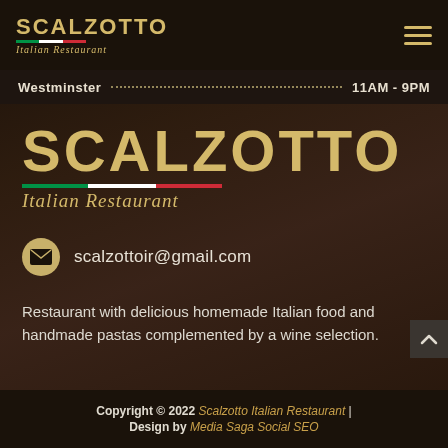SCALZOTTO Italian Restaurant
Westminster .......... 11AM - 9PM
[Figure (logo): Scalzotto Italian Restaurant large logo with gold text and Italian flag stripe]
scalzottoir@gmail.com
Restaurant with delicious homemade Italian food and handmade pastas complemented by a wine selection.
Copyright © 2022 Scalzotto Italian Restaurant | Design by Media Saga Social SEO